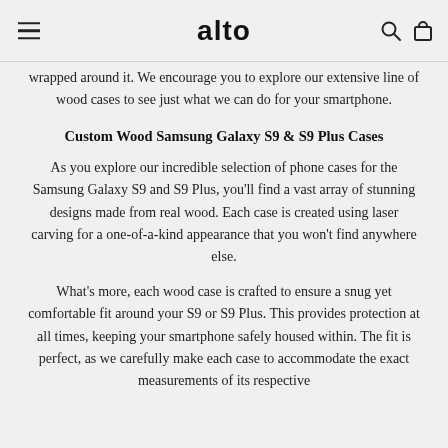alto
wrapped around it. We encourage you to explore our extensive line of wood cases to see just what we can do for your smartphone.
Custom Wood Samsung Galaxy S9 & S9 Plus Cases
As you explore our incredible selection of phone cases for the Samsung Galaxy S9 and S9 Plus, you'll find a vast array of stunning designs made from real wood. Each case is created using laser carving for a one-of-a-kind appearance that you won't find anywhere else.
What's more, each wood case is crafted to ensure a snug yet comfortable fit around your S9 or S9 Plus. This provides protection at all times, keeping your smartphone safely housed within. The fit is perfect, as we carefully make each case to accommodate the exact measurements of its respective